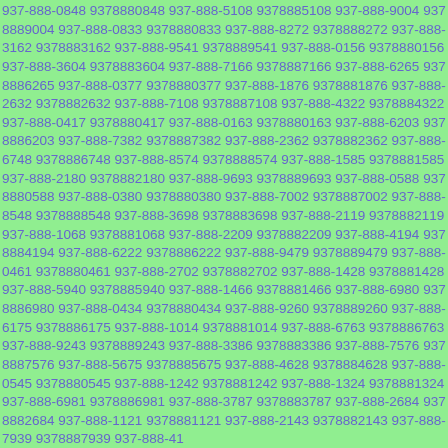937-888-0848 9378880848 937-888-5108 9378885108 937-888-9004 9378889004 937-888-0833 9378880833 937-888-8272 9378888272 937-888-3162 9378883162 937-888-9541 9378889541 937-888-0156 9378880156 937-888-3604 9378883604 937-888-7166 9378887166 937-888-6265 9378886265 937-888-0377 9378880377 937-888-1876 9378881876 937-888-2632 9378882632 937-888-7108 9378887108 937-888-4322 9378884322 937-888-0417 9378880417 937-888-0163 9378880163 937-888-6203 9378886203 937-888-7382 9378887382 937-888-2362 9378882362 937-888-6748 9378886748 937-888-8574 9378888574 937-888-1585 9378881585 937-888-2180 9378882180 937-888-9693 9378889693 937-888-0588 9378880588 937-888-0380 9378880380 937-888-7002 9378887002 937-888-8548 9378888548 937-888-3698 9378883698 937-888-2119 9378882119 937-888-1068 9378881068 937-888-2209 9378882209 937-888-4194 9378884194 937-888-6222 9378886222 937-888-9479 9378889479 937-888-0461 9378880461 937-888-2702 9378882702 937-888-1428 9378881428 937-888-5940 9378885940 937-888-1466 9378881466 937-888-6980 9378886980 937-888-0434 9378880434 937-888-9260 9378889260 937-888-6175 9378886175 937-888-1014 9378881014 937-888-6763 9378886763 937-888-9243 9378889243 937-888-3386 9378883386 937-888-7576 9378887576 937-888-5675 9378885675 937-888-4628 9378884628 937-888-0545 9378880545 937-888-1242 9378881242 937-888-1324 9378881324 937-888-6981 9378886981 937-888-3787 9378883787 937-888-2684 9378882684 937-888-1121 9378881121 937-888-2143 9378882143 937-888-7939 9378887939 937-888-41